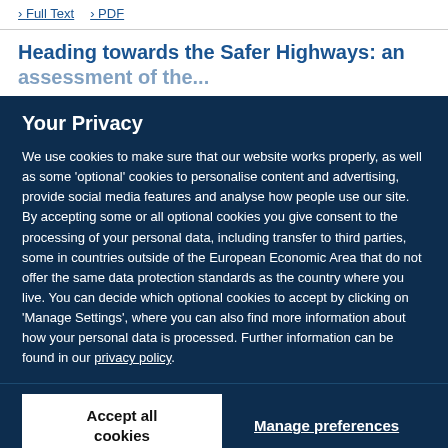Full Text  PDF
Heading towards the Safer Highways: an
Your Privacy
We use cookies to make sure that our website works properly, as well as some ‘optional’ cookies to personalise content and advertising, provide social media features and analyse how people use our site. By accepting some or all optional cookies you give consent to the processing of your personal data, including transfer to third parties, some in countries outside of the European Economic Area that do not offer the same data protection standards as the country where you live. You can decide which optional cookies to accept by clicking on ‘Manage Settings’, where you can also find more information about how your personal data is processed. Further information can be found in our privacy policy.
Accept all cookies
Manage preferences